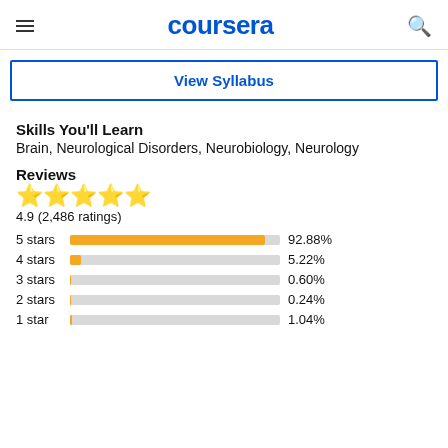coursera
View Syllabus
Skills You'll Learn
Brain, Neurological Disorders, Neurobiology, Neurology
Reviews
[Figure (bar-chart): Star Ratings]